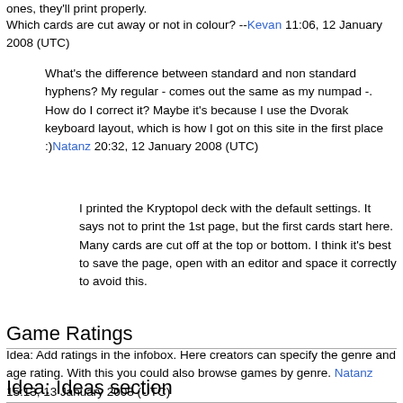ones, they'll print properly.
Which cards are cut away or not in colour? --Kevan 11:06, 12 January 2008 (UTC)
What's the difference between standard and non standard hyphens? My regular - comes out the same as my numpad -. How do I correct it? Maybe it's because I use the Dvorak keyboard layout, which is how I got on this site in the first place :)Natanz 20:32, 12 January 2008 (UTC)
I printed the Kryptopol deck with the default settings. It says not to print the 1st page, but the first cards start here. Many cards are cut off at the top or bottom. I think it's best to save the page, open with an editor and space it correctly to avoid this.
Game Ratings
Idea: Add ratings in the infobox. Here creators can specify the genre and age rating. With this you could also browse games by genre. Natanz 15:13, 13 January 2008 (UTC)
Idea: Ideas section
Idea: have a separate link on the left called "New Games". On this page people could show their ideas for new games and ask if anyone wants to